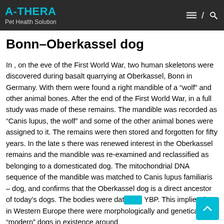A-THERA
Pet Health Solution
Bonn–Oberkassel dog
In , on the eve of the First World War, two human skeletons were discovered during basalt quarrying at Oberkassel, Bonn in Germany. With them were found a right mandible of a “wolf” and other animal bones. After the end of the First World War, in a full study was made of these remains. The mandible was recorded as “Canis lupus, the wolf” and some of the other animal bones were assigned to it. The remains were then stored and forgotten for fifty years. In the late s there was renewed interest in the Oberkassel remains and the mandible was re-examined and reclassified as belonging to a domesticated dog. The mitochondrial DNA sequence of the mandible was matched to Canis lupus familiaris – dog, and confirms that the Oberkassel dog is a direct ancestor of today’s dogs. The bodies were dat… YBP. This implies that in Western Europe there were morphologically and genetically “modern” dogs in existence around